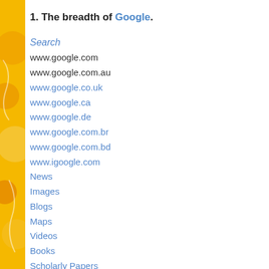1. The breadth of Google.
Search
www.google.com
www.google.com.au
www.google.co.uk
www.google.ca
www.google.de
www.google.com.br
www.google.com.bd
www.igoogle.com
News
Images
Blogs
Maps
Videos
Books
Scholarly Papers
Finance